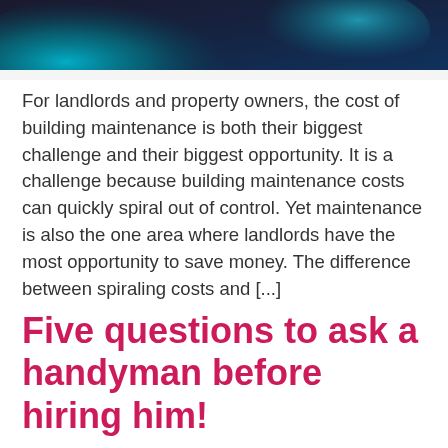[Figure (photo): Partial view of a dark surface with teal/blue liquid or paint, cropped at the top of the page]
For landlords and property owners, the cost of building maintenance is both their biggest challenge and their biggest opportunity. It is a challenge because building maintenance costs can quickly spiral out of control. Yet maintenance is also the one area where landlords have the most opportunity to save money. The difference between spiraling costs and [...]
Five questions to ask a handyman before hiring him!